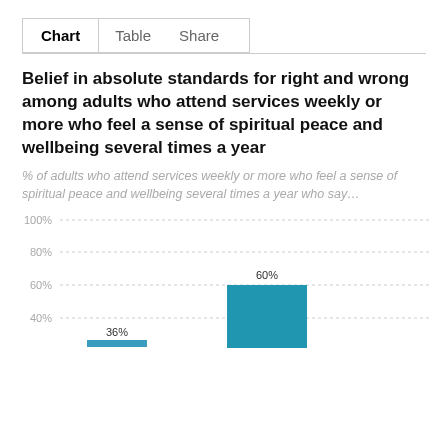Chart  Table  Share
Belief in absolute standards for right and wrong among adults who attend services weekly or more who feel a sense of spiritual peace and wellbeing several times a year
% of adults who attend services weekly or more who feel a sense of spiritual peace and wellbeing several times a year who say…
[Figure (bar-chart): Belief in absolute standards for right and wrong]